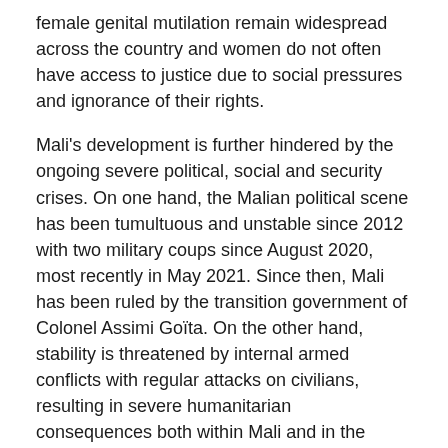female genital mutilation remain widespread across the country and women do not often have access to justice due to social pressures and ignorance of their rights.
Mali's development is further hindered by the ongoing severe political, social and security crises. On one hand, the Malian political scene has been tumultuous and unstable since 2012 with two military coups since August 2020, most recently in May 2021. Since then, Mali has been ruled by the transition government of Colonel Assimi Goïta. On the other hand, stability is threatened by internal armed conflicts with regular attacks on civilians, resulting in severe humanitarian consequences both within Mali and in the wider region (displacement, food insecurity). Increasingly, the conflict concerns control of illegal trade in narcotics, weapons as well as people. As of 30 September, there have been over 400,000 internally displaced persons (IDPs) in the country (UNHCR, 2021). The conflict, further exacerbated by the Covid-19 pandemic, reinforces women and girls to stay in their abilities and the